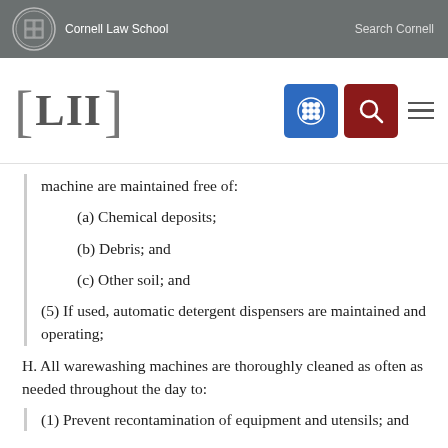Cornell Law School   Search Cornell
[Figure (logo): LII Legal Information Institute navigation bar with Cornell Law School branding, blue grid icon, red search icon, and hamburger menu]
machine are maintained free of:
(a) Chemical deposits;
(b) Debris; and
(c) Other soil; and
(5) If used, automatic detergent dispensers are maintained and operating;
H. All warewashing machines are thoroughly cleaned as often as needed throughout the day to:
(1) Prevent recontamination of equipment and utensils; and